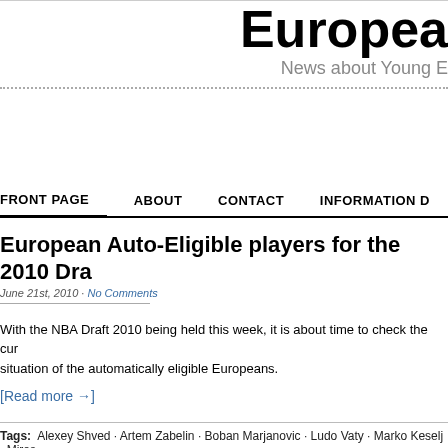Europea
News about Young E
FRONT PAGE · ABOUT · CONTACT · INFORMATION D
European Auto-Eligible players for the 2010 Dra
June 21st, 2010 · No Comments
With the NBA Draft 2010 being held this week, it is about time to check the cur situation of the automatically eligible Europeans.
[Read more →]
Tags: Alexey Shved · Artem Zabelin · Boban Marjanovic · Ludo Vaty · Marko Keselj · Miros